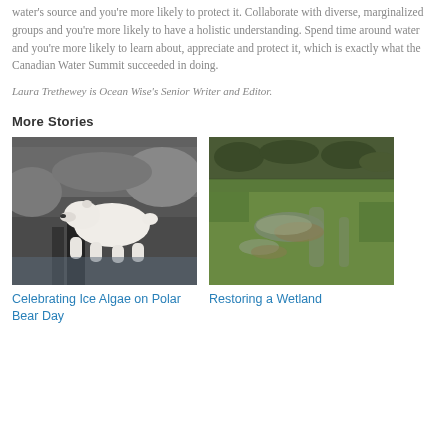water's source and you're more likely to protect it. Collaborate with diverse, marginalized groups and you're more likely to have a holistic understanding. Spend time around water and you're more likely to learn about, appreciate and protect it, which is exactly what the Canadian Water Summit succeeded in doing.
Laura Trethewey is Ocean Wise's Senior Writer and Editor.
More Stories
[Figure (photo): A polar bear standing on rocky terrain, viewed from the side]
Celebrating Ice Algae on Polar Bear Day
[Figure (photo): Aerial view of a green wetland landscape with water channels and vegetation]
Restoring a Wetland